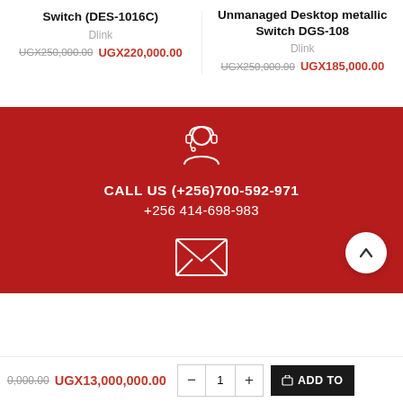Switch (DES-1016C)
Dlink
UGX250,000.00  UGX220,000.00
Unmanaged Desktop metallic Switch DGS-108
Dlink
UGX250,000.00  UGX185,000.00
[Figure (illustration): Customer support headset icon (white outline) on red background]
CALL US (+256)700-592-971
+256 414-698-983
[Figure (illustration): Email envelope icon (white outline) on red background]
0,000.00  UGX13,000,000.00  — 1 +  ADD TO